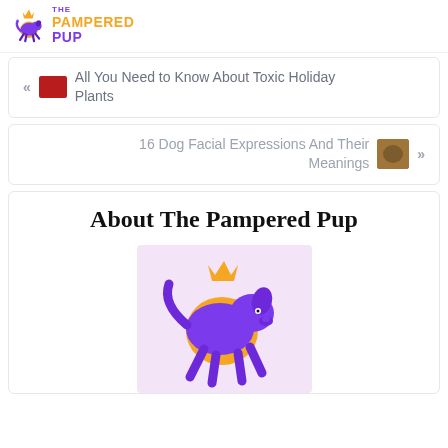THE PAMPERED PUP
« All You Need to Know About Toxic Holiday Plants
16 Dog Facial Expressions And Their Meanings »
About The Pampered Pup
[Figure (logo): The Pampered Pup logo — purple dog jumping with orange sun and golden crown on a light purple background]